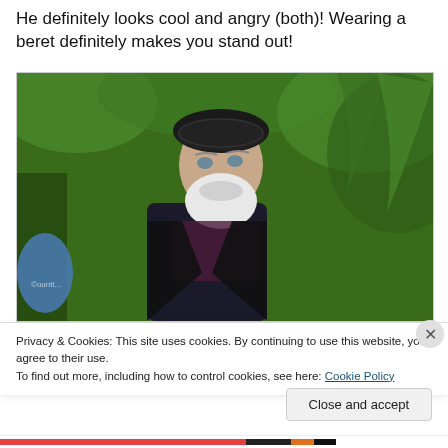He definitely looks cool and angry (both)! Wearing a beret definitely makes you stand out!
[Figure (photo): Elderly man with white beard wearing a black beret and dark jacket, looking upward, with green leafy trees in background. Copyright watermark visible in lower left.]
Privacy & Cookies: This site uses cookies. By continuing to use this website, you agree to their use.
To find out more, including how to control cookies, see here: Cookie Policy